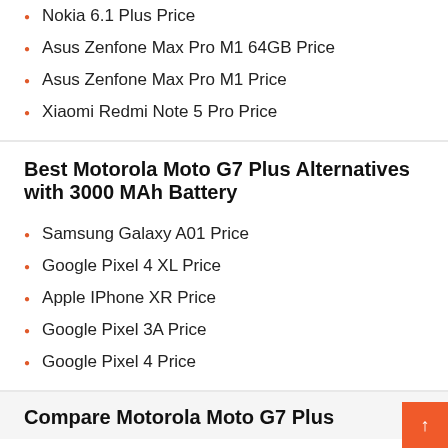Nokia 6.1 Plus Price
Asus Zenfone Max Pro M1 64GB Price
Asus Zenfone Max Pro M1 Price
Xiaomi Redmi Note 5 Pro Price
Best Motorola Moto G7 Plus Alternatives with 3000 MAh Battery
Samsung Galaxy A01 Price
Google Pixel 4 XL Price
Apple IPhone XR Price
Google Pixel 3A Price
Google Pixel 4 Price
Compare Motorola Moto G7 Plus